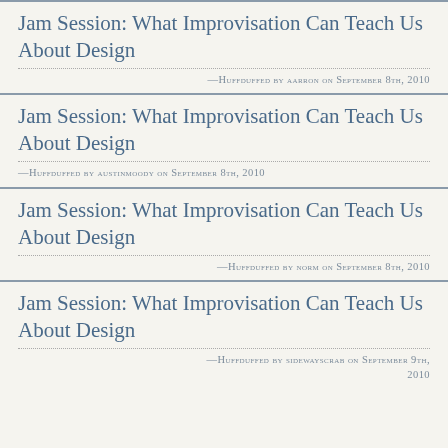Jam Session: What Improvisation Can Teach Us About Design
—Huffduffed by aarron on September 8th, 2010
Jam Session: What Improvisation Can Teach Us About Design
—Huffduffed by austinmoody on September 8th, 2010
Jam Session: What Improvisation Can Teach Us About Design
—Huffduffed by norm on September 8th, 2010
Jam Session: What Improvisation Can Teach Us About Design
—Huffduffed by sidewayscrab on September 9th, 2010